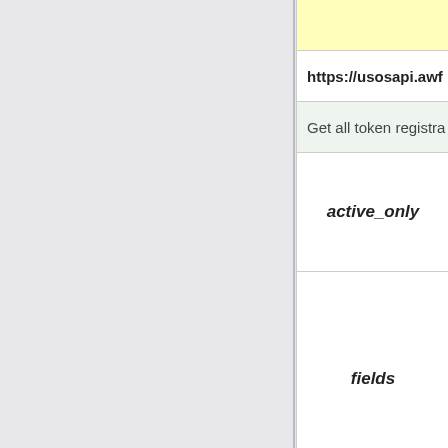| Parameter |
| --- |
|  |
| https://usosapi.awf... |
| Get all token registra... |
| active_only |
| fields |
| format |
| callback |